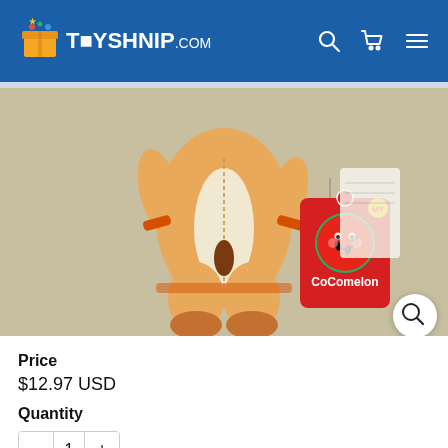TOYSHNIP.com
[Figure (photo): CoComelon plush toy shown from back, wearing orange and cream onesie with brown tail, with red CoComelon branded hang tag visible]
Price
$12.97 USD
Quantity
- 1 +